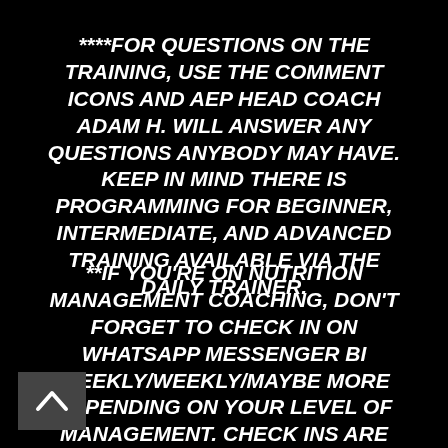****FOR QUESTIONS ON THE TRAINING, USE THE COMMENT ICONS AND AEP HEAD COACH ADAM H. WILL ANSWER ANY QUESTIONS ANYBODY MAY HAVE. KEEP IN MIND THERE IS PROGRAMMING FOR BEGINNER, INTERMEDIATE, AND ADVANCED TRAINING AVAILABLE VIA THE DAILY TRAINER.
**IF YOU'RE ON NUTRITION MANAGEMENT COACHING, DON'T FORGET TO CHECK IN ON WHATSAPP MESSENGER BI WEEKLY/WEEKLY/MAYBE MORE DEPENDING ON YOUR LEVEL OF MANAGEMENT. CHECK INS ARE SUNDAYS.